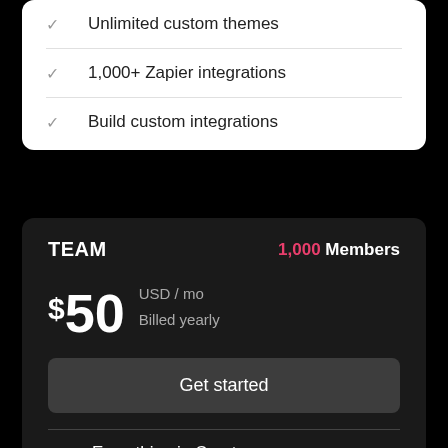Unlimited custom themes
1,000+ Zapier integrations
Build custom integrations
TEAM
1,000 Members
$50 USD / mo Billed yearly
Get started
Everything in Creator
5 staff users